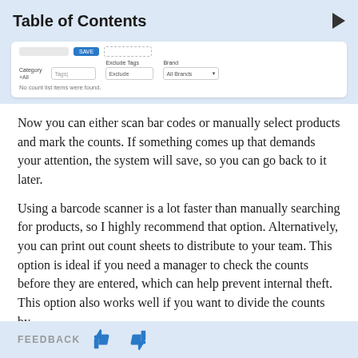Table of Contents
[Figure (screenshot): Screenshot of a web interface showing filter options with Category (All), Tags input, Exclude Tags (Exclude), and Brand (All Brands) dropdowns. Text reads 'No count list items were found.']
Now you can either scan bar codes or manually select products and mark the counts. If something comes up that demands your attention, the system will save, so you can go back to it later.
Using a barcode scanner is a lot faster than manually searching for products, so I highly recommend that option. Alternatively, you can print out count sheets to distribute to your team. This option is ideal if you need a manager to check the counts before they are entered, which can help prevent internal theft. This option also works well if you want to divide the counts by
FEEDBACK